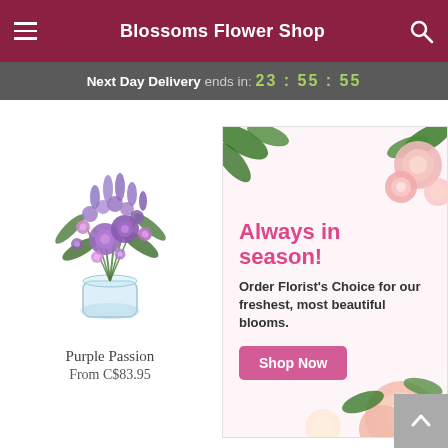Blossoms Flower Shop
Next Day Delivery ends in: 23 : 55 : 55
[Figure (photo): Purple Passion flower bouquet — an arrangement of purple and lavender flowers including roses, bell flowers, and greenery in a glass vase]
Purple Passion
From C$83.95
[Figure (infographic): Advertisement banner showing pink and peach roses with text 'Always in season! Order Florist's Choice for our freshest, most beautiful blooms.' and a Shop Now button]